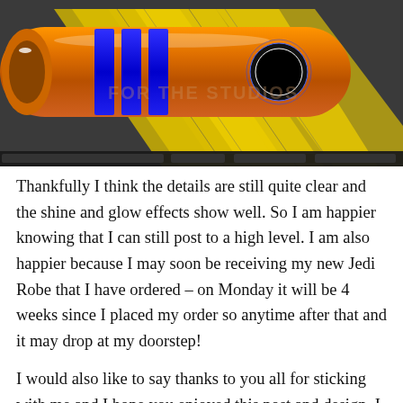[Figure (photo): 3D render of an orange lightsaber hilt with blue ring accents and glowing circle detail, placed on a yellow lightning bolt graphic background. Software UI elements visible at the bottom of the render viewport.]
Thankfully I think the details are still quite clear and the shine and glow effects show well. So I am happier knowing that I can still post to a high level. I am also happier because I may soon be receiving my new Jedi Robe that I have ordered – on Monday it will be 4 weeks since I placed my order so anytime after that and it may drop at my doorstep!
I would also like to say thanks to you all for sticking with me and I hope you enjoyed this post and design. I have